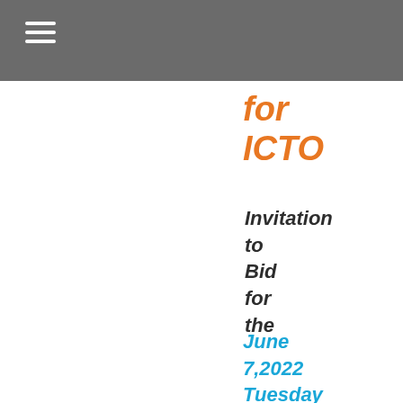for ICTO
Invitation to Bid for the
June 7,2022 Tuesday
Supply, Delivery and